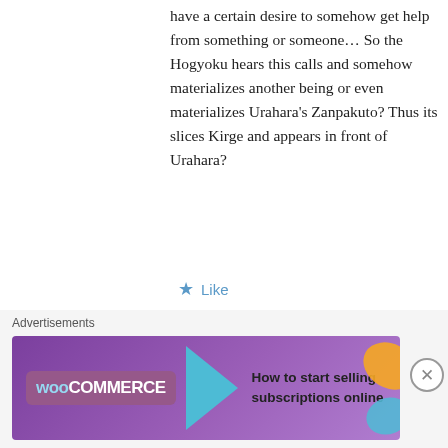have a certain desire to somehow get help from something or someone… So the Hogyoku hears this calls and somehow materializes another being or even materializes Urahara's Zanpakuto? Thus its slices Kirge and appears in front of Urahara?
Like
Ne3X7
July 26, 2012 at 5:29 pm
Reply
Oh my, you're wrong right from the beginning. Aizen stole Urahara's
Advertisements
How to start selling subscriptions online